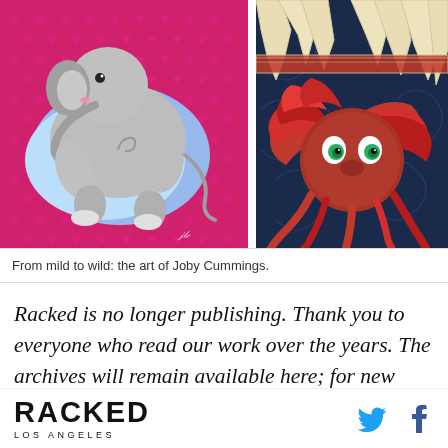[Figure (illustration): Two side-by-side cartoon illustrations by Joby Cummings. Left: a cute grey elephant curled up on a pink heart-patterned background. Right: a red-haired fantastical creature with green eyes peeking out from a dark navy blue decorative background with bone/fang-like shapes.]
From mild to wild: the art of Joby Cummings.
Racked is no longer publishing. Thank you to everyone who read our work over the years. The archives will remain available here; for new stories, head over to Vox.com, where our staff is covering consumer culture for The Goods by Vox
RACKED LOS ANGELES